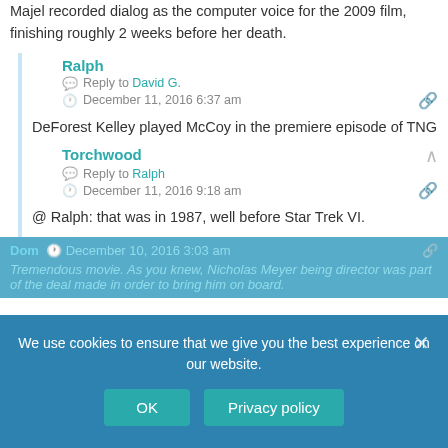Majel recorded dialog as the computer voice for the 2009 film, finishing roughly 2 weeks before her death.
Ralph
Reply to David G.
December 11, 2016 6:37 am
DeForest Kelley played McCoy in the premiere episode of TNG
Torchwood
Reply to Ralph
December 11, 2016 9:18 am
@ Ralph: that was in 1987, well before Star Trek VI.
Dom  December 10, 2016 3:03 am
Tremendous movie. As you knew, Nicholas Meyer being director was part of the deal made in order to bring him on board.
We use cookies to ensure that we give you the best experience on our website.